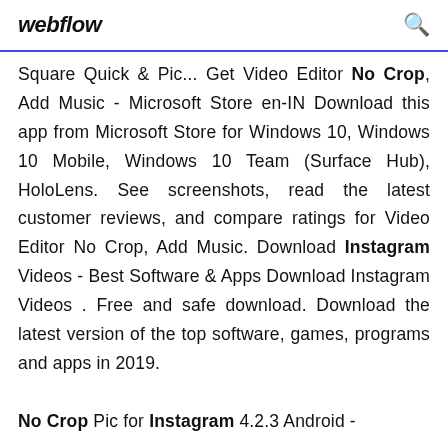webflow
Square Quick & Pic... Get Video Editor No Crop, Add Music - Microsoft Store en-IN Download this app from Microsoft Store for Windows 10, Windows 10 Mobile, Windows 10 Team (Surface Hub), HoloLens. See screenshots, read the latest customer reviews, and compare ratings for Video Editor No Crop, Add Music. Download Instagram Videos - Best Software & Apps Download Instagram Videos . Free and safe download. Download the latest version of the top software, games, programs and apps in 2019.
No Crop Pic for Instagram 4.2.3 Android -